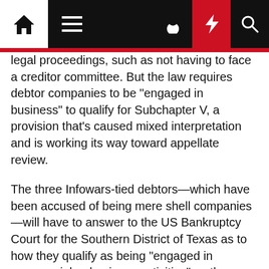Navigation bar with home, menu, moon, bolt, and search icons
legal proceedings, such as not having to face a creditor committee. But the law requires debtor companies to be "engaged in business" to qualify for Subchapter V, a provision that's caused mixed interpretation and is working its way toward appellate review.
The three Infowars-tied debtors—which have been accused of being mere shell companies—will have to answer to the US Bankruptcy Court for the Southern District of Texas as to how they qualify as being "engaged in commercial or business activities" as they seek to take advantage of Subchapter V benefits.
The court's decision will largely help determine the debtors' fate and give broader guidance to practitioners who have wrestled with the question